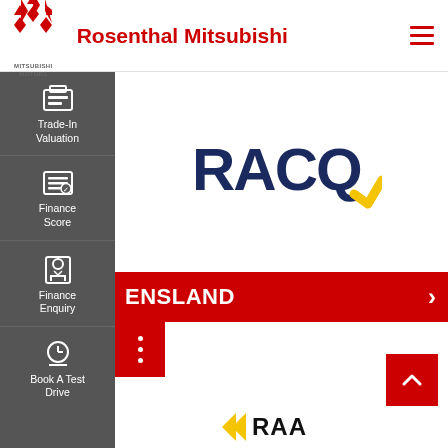[Figure (logo): Mitsubishi Motors red diamond logo with MITSUBISHI MOTORS text below]
Rosenthal Mitsubishi
[Figure (logo): Hamburger menu icon (three red horizontal lines)]
[Figure (logo): Sidebar navigation with icons and labels: Trade-In Valuation, Finance Score, Finance Enquiry, Book A Test Drive]
[Figure (logo): RACQ logo - navy blue text with yellow chevron]
ENSLAND
[Figure (logo): Three white dots menu icon on red background]
[Figure (logo): Back to top button - red square with white caret up arrow]
[Figure (logo): RAA logo partial view at bottom]